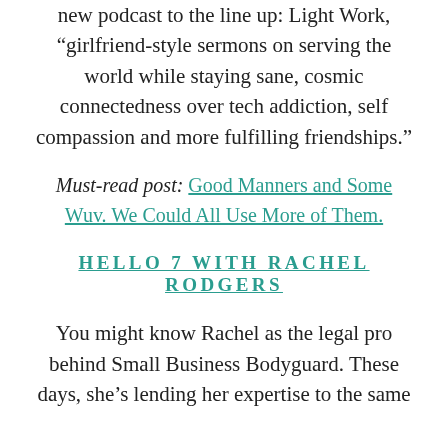new podcast to the line up: Light Work, “girlfriend-style sermons on serving the world while staying sane, cosmic connectedness over tech addiction, self compassion and more fulfilling friendships.”
Must-read post: Good Manners and Some Wuv. We Could All Use More of Them.
HELLO 7 WITH RACHEL RODGERS
You might know Rachel as the legal pro behind Small Business Bodyguard. These days, she’s lending her expertise to the same